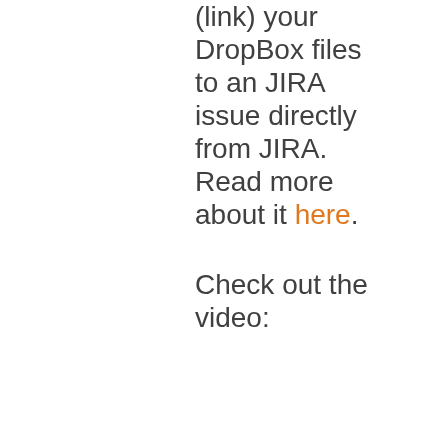(link) your DropBox files to an JIRA issue directly from JIRA. Read more about it here.
Check out the video: